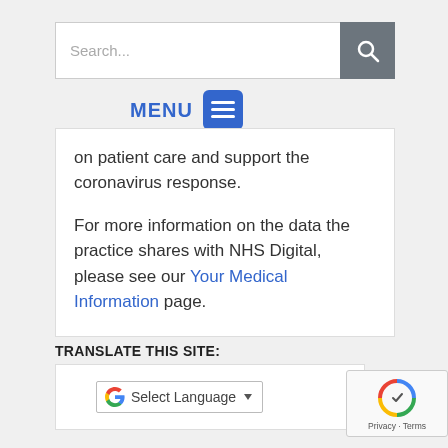[Figure (screenshot): Search bar with text input and grey search button icon]
[Figure (screenshot): Blue MENU text and blue menu icon button]
on patient care and support the coronavirus response.
For more information on the data the practice shares with NHS Digital, please see our Your Medical Information page.
TRANSLATE THIS SITE:
[Figure (screenshot): Google Translate Select Language dropdown widget]
[Figure (screenshot): reCAPTCHA widget with Privacy and Terms links]